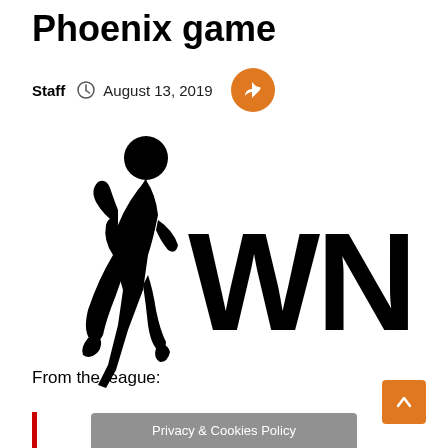Phoenix game
Staff   August 13, 2019
[Figure (logo): WNBA logo: silhouette of a female basketball player shooting alongside large bold text 'WNBA']
From the league: